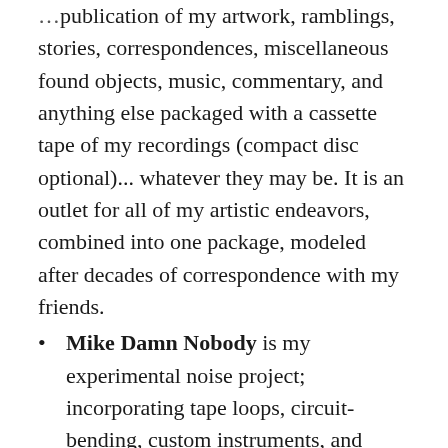publication of my artwork, ramblings, stories, correspondences, miscellaneous found objects, music, commentary, and anything else packaged with a cassette tape of my recordings (compact disc optional)... whatever they may be. It is an outlet for all of my artistic endeavors, combined into one package, modeled after decades of correspondence with my friends.
Mike Damn Nobody is my experimental noise project; incorporating tape loops, circuit-bending, custom instruments, and anything else available. Recordings are available on RecycleTapes (cassettes handmade from re-purposed materials)